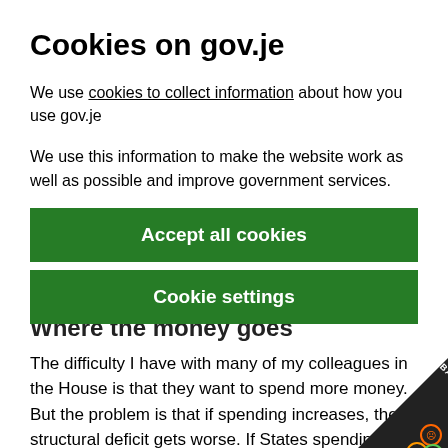Cookies on gov.je
We use cookies to collect information about how you use gov.je
We use this information to make the website work as well as possible and improve government services.
Accept all cookies
Cookie settings
Where the money goes
The difficulty I have with many of my colleagues in the House is that they want to spend more money. But the problem is that if spending increases, the structural deficit gets worse.  If States spending